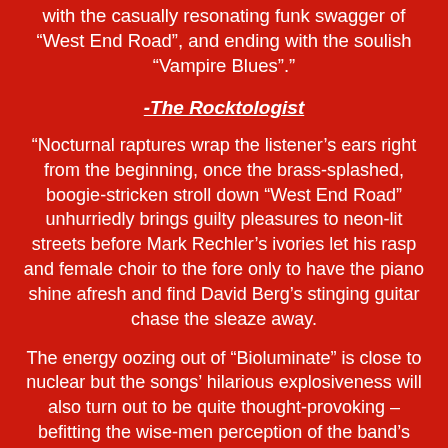with the casually resonating funk swagger of “West End Road”, and ending with the soulish “Vampire Blues”.”
-The Rocktologist
“Nocturnal raptures wrap the listener’s ears right from the beginning, once the brass-splashed, boogie-stricken stroll down “West End Road” unhurriedly brings guilty pleasures to neon-lit streets before Mark Rechler’s ivories let his rasp and female choir to the fore only to have the piano shine afresh and find David Berg’s stinging guitar chase the sleaze away.
The energy oozing out of “Bioluminate” is close to nuclear but the songs’ hilarious explosiveness will also turn out to be quite thought-provoking – befitting the wise-men perception of the band’s members. The result of such an approach, of course, is